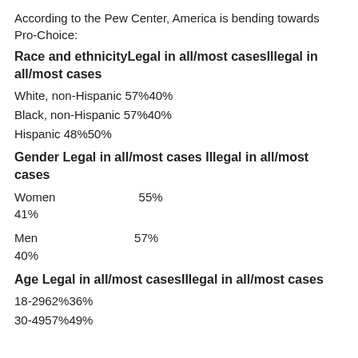According to the Pew Center, America is bending towards Pro-Choice:
Race and ethnicityLegal in all/most casesIllegal in all/most cases
White, non-Hispanic 57%40%
Black, non-Hispanic 57%40%
Hispanic 48%50%
Gender Legal in all/most cases Illegal in all/most cases
Women 55% 41%
Men 57% 40%
Age Legal in all/most casesIllegal in all/most cases
18-2962%36%
30-4957%49%